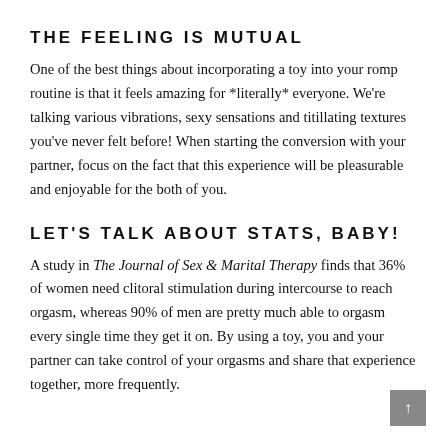THE FEELING IS MUTUAL
One of the best things about incorporating a toy into your romp routine is that it feels amazing for *literally* everyone. We're talking various vibrations, sexy sensations and titillating textures you've never felt before! When starting the conversion with your partner, focus on the fact that this experience will be pleasurable and enjoyable for the both of you.
LET'S TALK ABOUT STATS, BABY!
A study in The Journal of Sex & Marital Therapy finds that 36% of women need clitoral stimulation during intercourse to reach orgasm, whereas 90% of men are pretty much able to orgasm every single time they get it on. By using a toy, you and your partner can take control of your orgasms and share that experience together, more frequently.